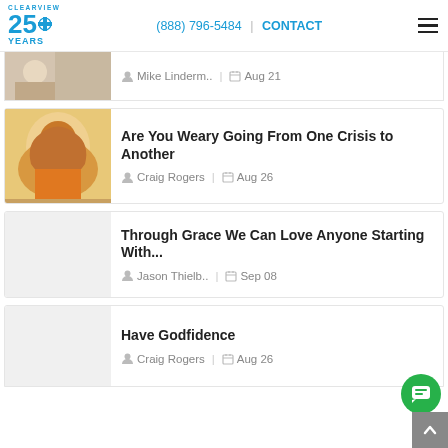CLEARVIEW 25 YEARS | (888) 796-5484 | CONTACT
Mike Linderm.. | Aug 21
Are You Weary Going From One Crisis to Another
Craig Rogers | Aug 26
Through Grace We Can Love Anyone Starting With...
Jason Thielb.. | Sep 08
Have Godfidence
Craig Rogers | Aug 26